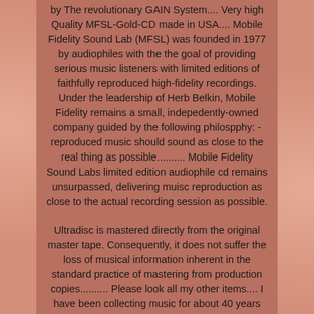by The revolutionary GAIN System.... Very high Quality MFSL-Gold-CD made in USA.... Mobile Fidelity Sound Lab (MFSL) was founded in 1977 by audiophiles with the the goal of providing serious music listeners with limited editions of faithfully reproduced high-fidelity recordings. Under the leadership of Herb Belkin, Mobile Fidelity remains a small, indepedently-owned company guided by the following philospphy: - reproduced music should sound as close to the real thing as possible.......... Mobile Fidelity Sound Labs limited edition audiophile cd remains unsurpassed, delivering muisc reproduction as close to the actual recording session as possible.
Ultradisc is mastered directly from the original master tape. Consequently, it does not suffer the loss of musical information inherent in the standard practice of mastering from production copies.......... Please look all my other items.... I have been collecting music for about 40 years